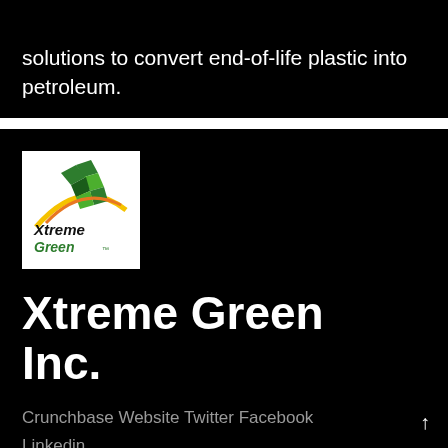solutions to convert end-of-life plastic into petroleum.
[Figure (logo): Xtreme Green logo — green checkered flag motif with yellow arc and stylized 'Xtreme Green' text on white background]
Xtreme Green Inc.
Crunchbase Website Twitter Facebook Linkedin